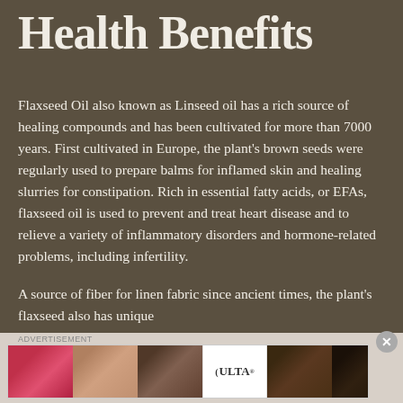Health Benefits
Flaxseed Oil also known as Linseed oil has a rich source of healing compounds and has been cultivated for more than 7000 years. First cultivated in Europe, the plant’s brown seeds were regularly used to prepare balms for inflamed skin and healing slurries for constipation. Rich in essential fatty acids, or EFAs, flaxseed oil is used to prevent and treat heart disease and to relieve a variety of inflammatory disorders and hormone-related problems, including infertility.
A source of fiber for linen fabric since ancient times, the plant’s flaxseed also has unique...
[Figure (photo): Advertisement banner for Ulta Beauty showing cosmetic product images and the text SHOP NOW]